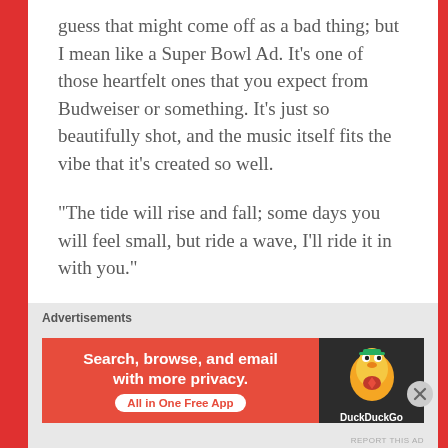guess that might come off as a bad thing; but I mean like a Super Bowl Ad. It's one of those heartfelt ones that you expect from Budweiser or something. It's just so beautifully shot, and the music itself fits the vibe that it's created so well.
“The tide will rise and fall; some days you will feel small, but ride a wave, I’ll ride it in with you.”
Advertisements
Advertisements
[Figure (other): DuckDuckGo advertisement banner: orange left panel with text 'Search, browse, and email with more privacy. All in One Free App' and dark right panel with DuckDuckGo duck logo]